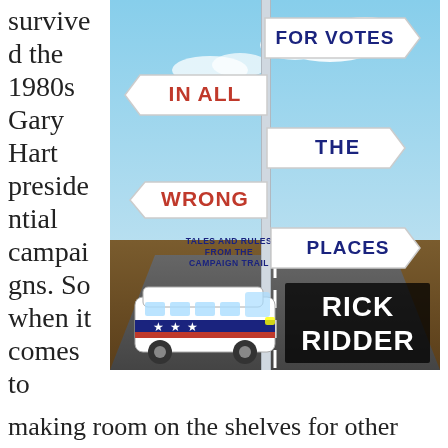survived the 1980s Gary Hart presidential campaigns. So when it comes to
[Figure (illustration): Book cover of 'Looking for Votes in All the Wrong Places: Tales and Rules from the Campaign Trail' by Rick Ridder. Shows a signpost with multiple directional signs reading FOR VOTES, IN ALL, THE, WRONG, PLACES, and TALES AND RULES FROM THE CAMPAIGN TRAIL. A campaign bus is shown at the bottom against a desert road background.]
making room on the shelves for other